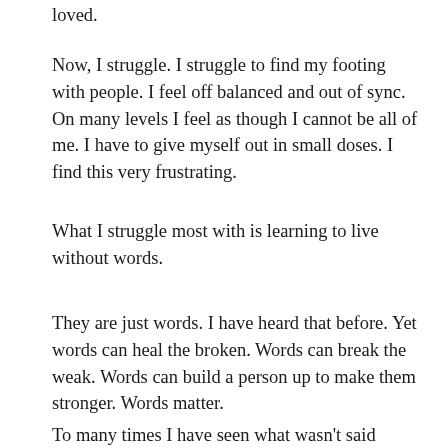loved.
Now, I struggle. I struggle to find my footing with people. I feel off balanced and out of sync. On many levels I feel as though I cannot be all of me. I have to give myself out in small doses. I find this very frustrating.
What I struggle most with is learning to live without words.
They are just words. I have heard that before. Yet words can heal the broken. Words can break the weak. Words can build a person up to make them stronger. Words matter.
To many times I have seen what wasn't said break a